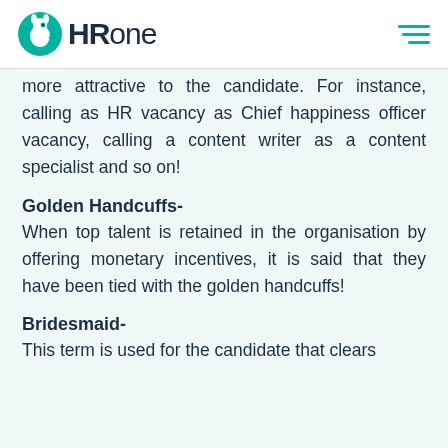HR One
more attractive to the candidate. For instance, calling as HR vacancy as Chief happiness officer vacancy, calling a content writer as a content specialist and so on!
Golden Handcuffs-
When top talent is retained in the organisation by offering monetary incentives, it is said that they have been tied with the golden handcuffs!
Bridesmaid-
This term is used for the candidate that clears